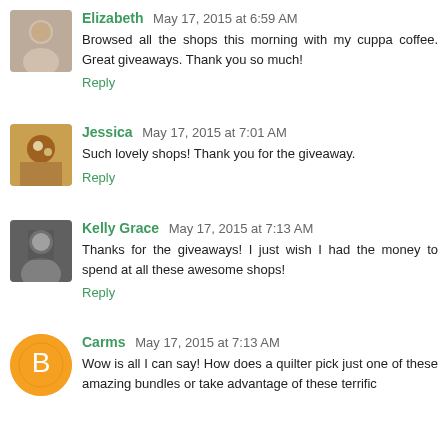Elizabeth May 17, 2015 at 6:59 AM
Browsed all the shops this morning with my cuppa coffee. Great giveaways. Thank you so much!
Reply
Jessica May 17, 2015 at 7:01 AM
Such lovely shops! Thank you for the giveaway.
Reply
Kelly Grace May 17, 2015 at 7:13 AM
Thanks for the giveaways! I just wish I had the money to spend at all these awesome shops!
Reply
Carms May 17, 2015 at 7:13 AM
Wow is all I can say! How does a quilter pick just one of these amazing bundles or take advantage of these terrific